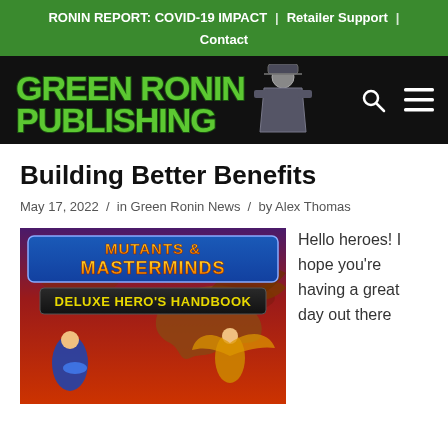RONIN REPORT: COVID-19 IMPACT | Retailer Support | Contact
[Figure (logo): Green Ronin Publishing logo with samurai mascot on black background]
Building Better Benefits
May 17, 2022 / in Green Ronin News / by Alex Thomas
[Figure (photo): Mutants & Masterminds Deluxe Hero's Handbook book cover featuring heroes and a dragon]
Hello heroes! I hope you're having a great day out there